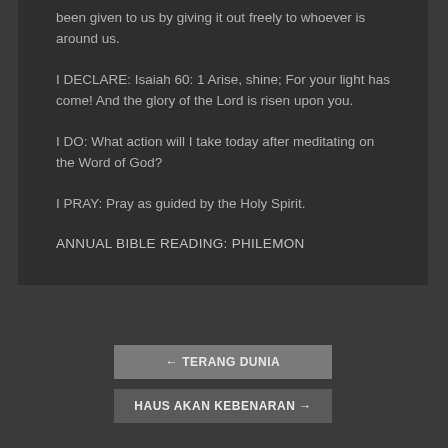been given to us by giving it out freely to whoever is around us.
I DECLARE: Isaiah 60: 1 Arise, shine; For your light has come! And the glory of the Lord is risen upon you.
I DO: What action will I take today after meditating on the Word of God?
I PRAY: Pray as guided by the Holy Spirit.
ANNUAL BIBLE READING: PHILEMON
TERANG DUNIA
HAUS AKAN KEBENARAN